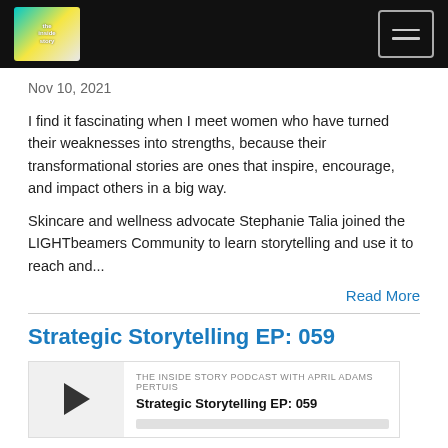The Inside Story Podcast - Navigation
Nov 10, 2021
I find it fascinating when I meet women who have turned their weaknesses into strengths, because their transformational stories are ones that inspire, encourage, and impact others in a big way.
Skincare and wellness advocate Stephanie Talia joined the LIGHTbeamers Community to learn storytelling and use it to reach and...
Read More
Strategic Storytelling EP: 059
[Figure (screenshot): Podcast player widget with play button, label 'THE INSIDE STORY PODCAST WITH APRIL ADAMS PERTUIS', episode title 'Strategic Storytelling EP: 059', and a grey progress bar.]